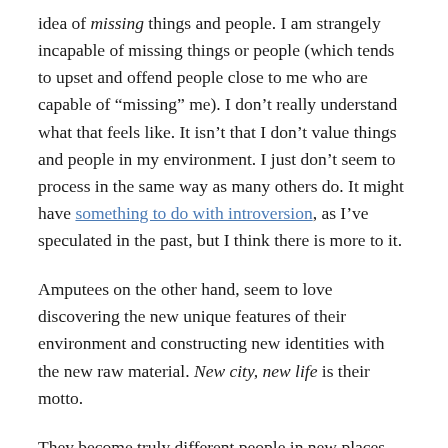idea of missing things and people. I am strangely incapable of missing things or people (which tends to upset and offend people close to me who are capable of “missing” me). I don’t really understand what that feels like. It isn’t that I don’t value things and people in my environment. I just don’t seem to process in the same way as many others do. It might have something to do with introversion, as I’ve speculated in the past, but I think there is more to it.
Amputees on the other hand, seem to love discovering the new unique features of their environment and constructing new identities with the new raw material. New city, new life is their motto.
They become truly different people in new places, and the new places become different because of them. Moving is rebirth. To them, the recompilers seem to live impoverished lives that limit their experiences. The amputees also are much less ritualized in